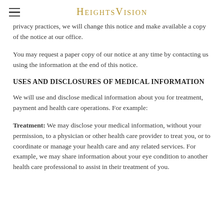HeightsVision
privacy practices, we will change this notice and make available a copy of the notice at our office.
You may request a paper copy of our notice at any time by contacting us using the information at the end of this notice.
USES AND DISCLOSURES OF MEDICAL INFORMATION
We will use and disclose medical information about you for treatment, payment and health care operations. For example:
Treatment: We may disclose your medical information, without your permission, to a physician or other health care provider to treat you, or to coordinate or manage your health care and any related services. For example, we may share information about your eye condition to another health care professional to assist in their treatment of you.